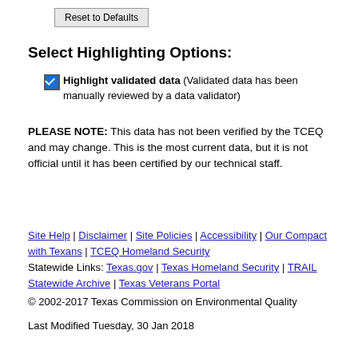Reset to Defaults
Select Highlighting Options:
Highlight validated data (Validated data has been manually reviewed by a data validator)
PLEASE NOTE:  This data has not been verified by the TCEQ and may change. This is the most current data, but it is not official until it has been certified by our technical staff.
Site Help | Disclaimer | Site Policies | Accessibility | Our Compact with Texans | TCEQ Homeland Security Statewide Links: Texas.gov | Texas Homeland Security | TRAIL Statewide Archive | Texas Veterans Portal
© 2002-2017 Texas Commission on Environmental Quality
Last Modified Tuesday, 30 Jan 2018